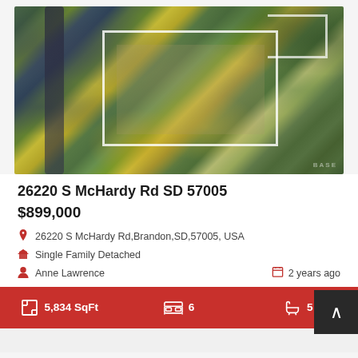[Figure (photo): Aerial drone photo of a residential lot with white boundary lines marked on green grass fields, surrounded by trees with autumn yellow foliage, a dark driveway visible on the left, and neighboring house visible in upper left.]
26220 S McHardy Rd SD 57005
$899,000
26220 S McHardy Rd,Brandon,SD,57005, USA
Single Family Detached
Anne Lawrence
2 years ago
5,834 SqFt  6  5